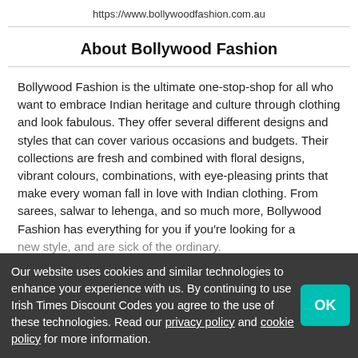https://www.bollywoodfashion.com.au
About Bollywood Fashion
Bollywood Fashion is the ultimate one-stop-shop for all who want to embrace Indian heritage and culture through clothing and look fabulous. They offer several different designs and styles that can cover various occasions and budgets. Their collections are fresh and combined with floral designs, vibrant colours, combinations, with eye-pleasing prints that make every woman fall in love with Indian clothing. From sarees, salwar to lehenga, and so much more, Bollywood Fashion has everything for you if you're looking for a new style, and are sick of the ordinary.
Our website uses cookies and similar technologies to enhance your experience with us. By continuing to use Irish Times Discount Codes you agree to the use of these technologies. Read our privacy policy and cookie policy for more information.